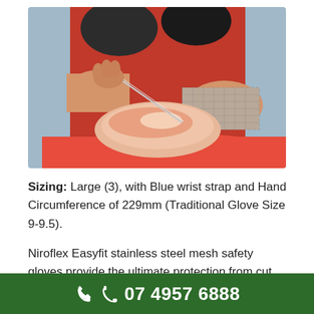[Figure (photo): A person wearing a red apron and a stainless steel mesh safety glove on one hand, using a knife to cut raw meat on a red cutting board.]
Sizing: Large (3), with Blue wrist strap and Hand Circumference of 229mm (Traditional Glove Size 9-9.5).
Niroflex Easyfit stainless steel mesh safety gloves provide the ultimate protection from cut injuries
07 4957 6888